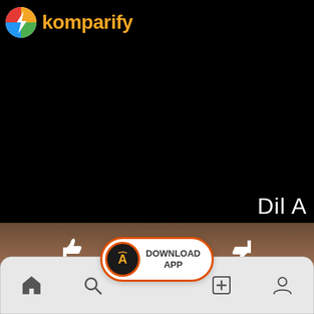[Figure (screenshot): Komparify app screenshot showing logo at top on black video background, with 'Dil A' text partially visible in bottom right of video area, a brown blurred panel, thumbs up/down icons, a Download App pill button with App Store icon, and a bottom navigation bar with home, search, center app icon, add/playlist, and profile icons.]